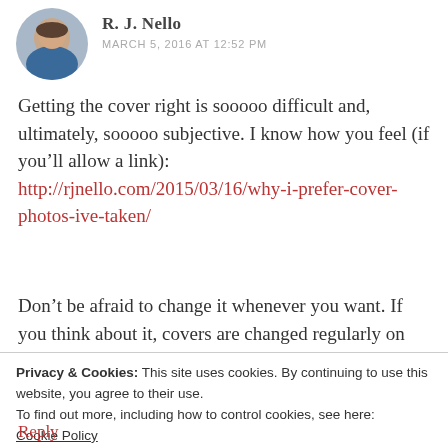[Figure (photo): Circular avatar photo of a man in a blue jacket, outdoors]
R. J. Nello
MARCH 5, 2016 AT 12:52 PM
Getting the cover right is sooooo difficult and, ultimately, sooooo subjective. I know how you feel (if you’ll allow a link): http://rjnello.com/2015/03/16/why-i-prefer-cover-photos-ive-taken/
Don’t be afraid to change it whenever you want. If you think about it, covers are changed regularly on “major” books by “major”
Privacy & Cookies: This site uses cookies. By continuing to use this website, you agree to their use.
To find out more, including how to control cookies, see here: Cookie Policy
Close and accept
Reply